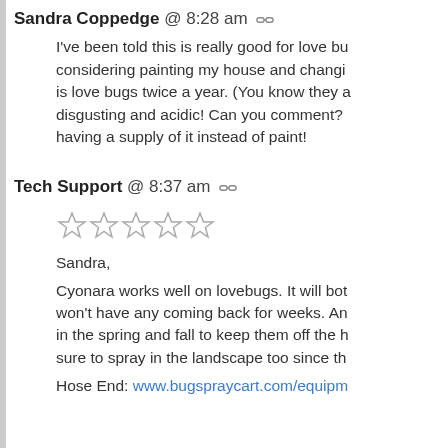Sandra Coppedge @ 8:28 am
I've been told this is really good for love bu... considering painting my house and changi... is love bugs twice a year. (You know they a... disgusting and acidic! Can you comment?... having a supply of it instead of paint!
Tech Support @ 8:37 am
[Figure (other): Five empty star rating icons]
Sandra,
Cyonara works well on lovebugs. It will bot... won't have any coming back for weeks. An... in the spring and fall to keep them off the h... sure to spray in the landscape too since th...
Hose End: www.bugspraycart.com/equipm...